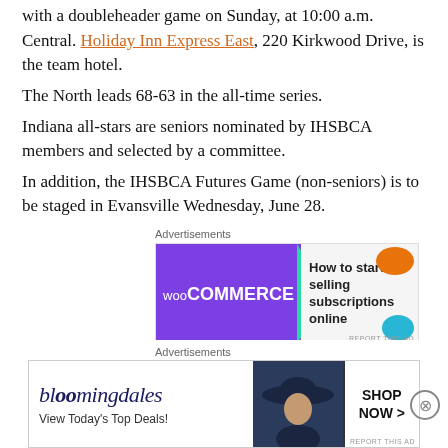with a doubleheader game on Sunday, at 10:00 a.m. Central. Holiday Inn Express East, 220 Kirkwood Drive, is the team hotel.
The North leads 68-63 in the all-time series.
Indiana all-stars are seniors nominated by IHSBCA members and selected by a committee.
In addition, the IHSBCA Futures Game (non-seniors) is to be staged in Evansville Wednesday, June 28.
[Figure (other): WooCommerce advertisement banner: How to start selling subscriptions online]
IHSBCA NORTH/SOUTH ALL-STAR SERIES
2021 Rosters
North
[Figure (other): Bloomingdale's advertisement: View Today's Top Deals! Shop Now >]